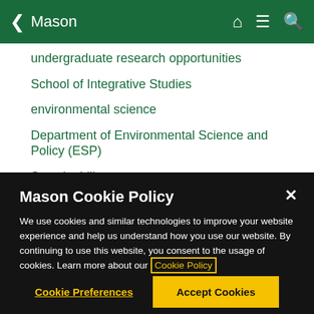Mason
undergraduate research opportunities
School of Integrative Studies
environmental science
Department of Environmental Science and Policy (ESP)
Sustainability
Sustainability Research
Mason Cookie Policy
We use cookies and similar technologies to improve your website experience and help us understand how you use our website. By continuing to use this website, you consent to the usage of cookies. Learn more about our Cookie Policy
Cookie Preferences
Accept Cookies